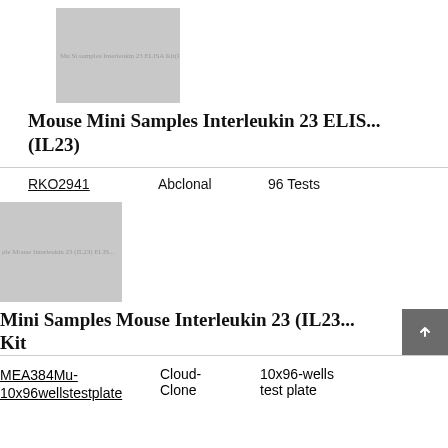[Figure (photo): Product image placeholder for Mouse Mini Samples Interleukin 23 ELISA Kit (IL23) with gray background and small text overlay]
Mouse Mini Samples Interleukin 23 ELIS... (IL23)
RKO2941   Abclonal   96 Tests
[Figure (photo): Product image placeholder for Mini Samples Mouse Interleukin 23 (IL23) ELISA Kit with gray background and small text overlay]
Mini Samples Mouse Interleukin 23 (IL23) ELISA Kit
MEA384Mu-10x96wellstestplate   Cloud-Clone   10x96-wells test plate